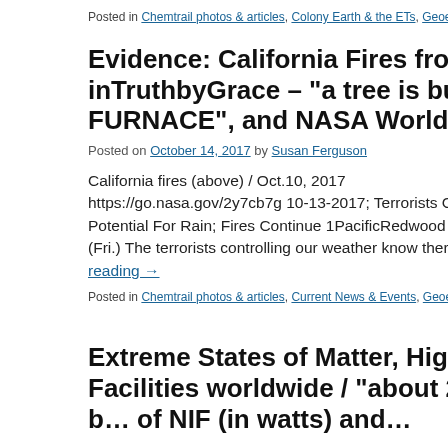Posted in Chemtrail photos & articles, Colony Earth & the ETs, Geoengineeri…
Evidence: California Fires from 1PacificR… inTruthbyGrace – "a tree is burning (from… FURNACE", and NASA Worldview screen…
Posted on October 14, 2017 by Susan Ferguson
California fires (above) / Oct.10, 2017 https://go.nasa.gov/2y7cb7g 10-13-2017; Terrorists Controlling… Potential For Rain; Fires Continue 1PacificRedwood Published… (Fri.) The terrorists controlling our weather know there are gian… reading →
Posted in Chemtrail photos & articles, Current News & Events, Geoengineeri…
Extreme States of Matter, High Energy De… Facilities worldwide / "about 20 facilities… b… of NIF (in watts) and…